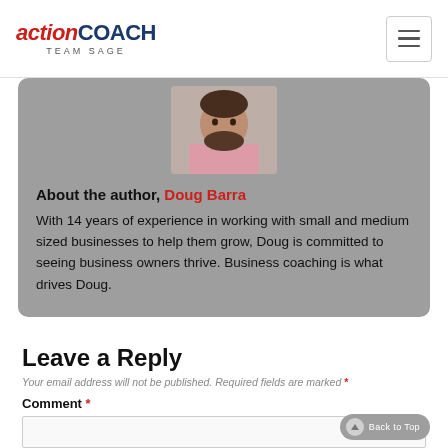ActionCOACH TEAM SAGE
[Figure (photo): Headshot photo of Doug Barra, a bearded man in a pink shirt]
About the author, Doug Barra
With 14 years of experience in working with small and medium sized businesses to help them grow, Doug is committed to seeing business owners thrive. Business coaching is what drives Doug.
Leave a Reply
Your email address will not be published. Required fields are marked *
Comment *